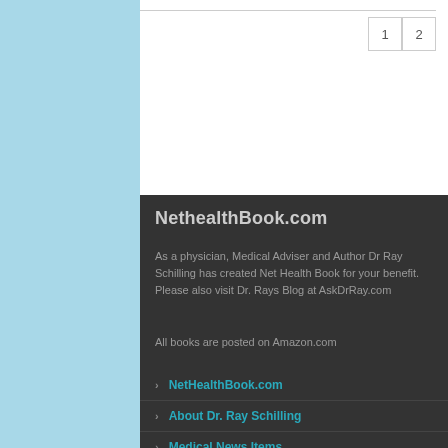1  2
NethealthBook.com
As a physician, Medical Adviser and Author Dr Ray Schilling has created Net Health Book for your benefit. Please also visit Dr. Rays Blog at AskDrRay.com
All books are posted on Amazon.com
NetHealthBook.com
About Dr. Ray Schilling
Medical News Items
Disclaimer